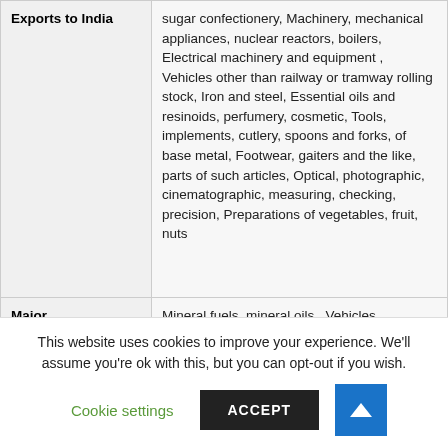| Category | Details |
| --- | --- |
| Exports to India | sugar confectionery, Machinery, mechanical appliances, nuclear reactors, boilers, Electrical machinery and equipment , Vehicles other than railway or tramway rolling stock, Iron and steel, Essential oils and resinoids, perfumery, cosmetic, Tools, implements, cutlery, spoons and forks, of base metal, Footwear, gaiters and the like, parts of such articles, Optical, photographic, cinematographic, measuring, checking, precision, Preparations of vegetables, fruit, nuts |
| Major | Mineral fuels, mineral oils , Vehicles |
This website uses cookies to improve your experience. We'll assume you're ok with this, but you can opt-out if you wish.
Cookie settings | ACCEPT